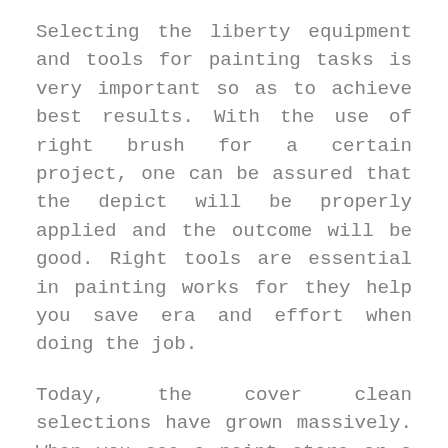Selecting the liberty equipment and tools for painting tasks is very important so as to achieve best results. With the use of right brush for a certain project, one can be assured that the depict will be properly applied and the outcome will be good. Right tools are essential in painting works for they help you save era and effort when doing the job.
Today, the cover clean selections have grown massively. When you see a paint store or a equipment store, it will be hard to not to notice the different kinds of paint touches displayed on their stock shelves. These touches come in different firebrands, size and genus. Sadly, the criteria used of countless people in choosing the right brush is the price rather than its quality. In the following